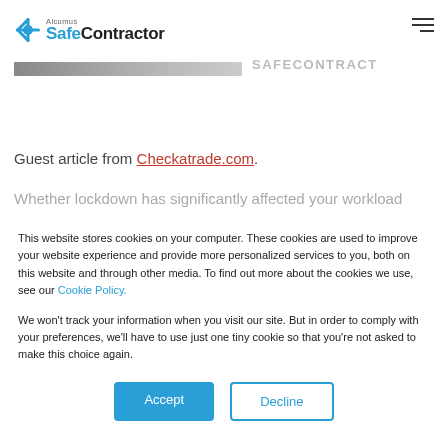Alcumus SafeContractor
[Figure (screenshot): Partial banner image strip (gray gradient) and partial page title text visible in background]
Guest article from Checkatrade.com.
Whether lockdown has significantly affected your workload
This website stores cookies on your computer. These cookies are used to improve your website experience and provide more personalized services to you, both on this website and through other media. To find out more about the cookies we use, see our Cookie Policy.
We won't track your information when you visit our site. But in order to comply with your preferences, we'll have to use just one tiny cookie so that you're not asked to make this choice again.
Accept
Decline